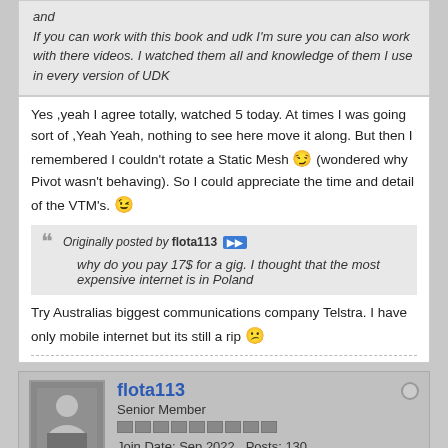and
If you can work with this book and udk I'm sure you can also work with there videos. I watched them all and knowledge of them I use in every version of UDK
Yes ,yeah I agree totally, watched 5 today. At times I was going sort of ,Yeah Yeah, nothing to see here move it along. But then I remembered I couldn't rotate a Static Mesh (wondered why Pivot wasn't behaving). So I could appreciate the time and detail of the VTM's.
Originally posted by flota113
why do you pay 17$ for a gig. I thought that the most expensive internet is in Poland
Try Australias biggest communications company Telstra. I have only mobile internet but its still a rip
flota113
Senior Member
Join Date: Sep 2022   Posts: 130
04-04-2011, 10:14 AM   #12